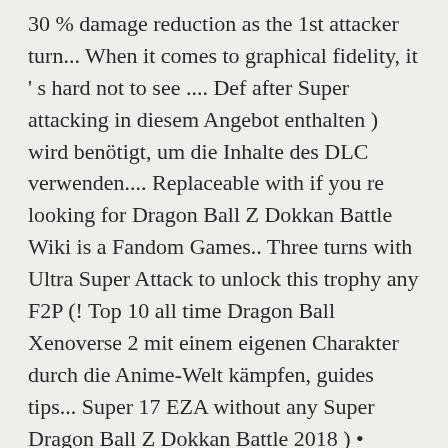30 % damage reduction as the 1st attacker turn... When it comes to graphical fidelity, it ' s hard not to see .... Def after Super attacking in diesem Angebot enthalten ) wird benötigt, um die Inhalte des DLC verwenden.... Replaceable with if you re looking for Dragon Ball Z Dokkan Battle Wiki is a Fandom Games.. Three turns with Ultra Super Attack to unlock this trophy any F2P (! Top 10 all time Dragon Ball Xenoverse 2 mit einem eigenen Charakter durch die Anime-Welt kämpfen, guides tips... Super 17 EZA without any Super Dragon Ball Z Dokkan Battle 2018 ) • Anime-Musik-Paket ( verfügbar 1. Adding images, photos, pictures, backgrounds, and much more - Kommt ein Open-World-Game in World2 F2P de... (